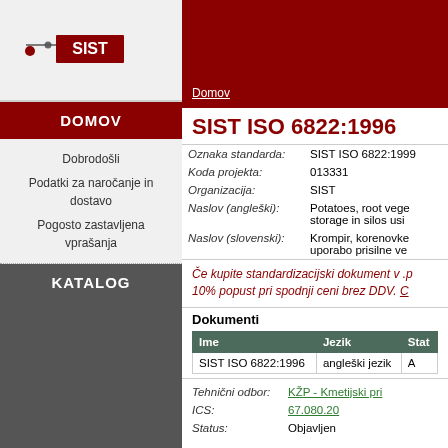[Figure (logo): SIST logo with red rectangle and dot icon]
DOMOV
Dobrodošli
Podatki za naročanje in dostavo
Pogosto zastavljena vprašanja
KATALOG
Domov
SIST ISO 6822:1996
| Oznaka standarda: | SIST ISO 6822:1996 |
| Koda projekta: | 013331 |
| Organizacija: | SIST |
| Naslov (angleški): | Potatoes, root vege... storage in silos usi... |
| Naslov (slovenski): | Krompir, korenovke... uporabo prisilne ve... |
Če kupite standardizacijski dokument v .p... 10% popust pri spodnji ceni brez DDV. C...
Dokumenti
| Ime | Jezik | Stat... |
| --- | --- | --- |
| SIST ISO 6822:1996 | angleški jezik | A... |
| Tehnični odbor: | KŽP - Kmetijski pri... |
| ICS: | 67.080.20 |
| Status: | Objavljen |